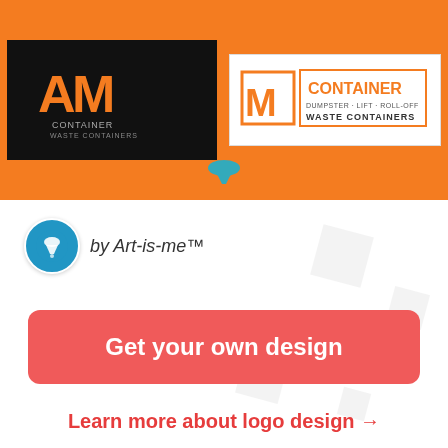[Figure (logo): AM Container Waste Containers logo shown in two variants: dark background (black with orange M logo) and light background (white with orange border logo). Displayed on orange banner background.]
by Art-is-me™
Get your own design
Learn more about logo design →